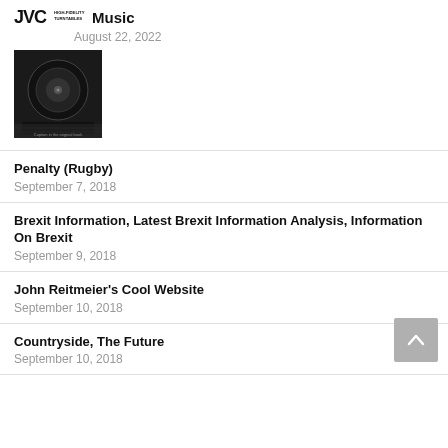[Figure (logo): JVC High-Fidelity Turntables logo with turntable image]
Music
August 22, 2022
Penalty (Rugby)
September 7, 2018
Brexit Information, Latest Brexit Information Analysis, Information On Brexit
September 9, 2018
John Reitmeier's Cool Website
September 10, 2018
Countryside, The Future
September 10, 2018